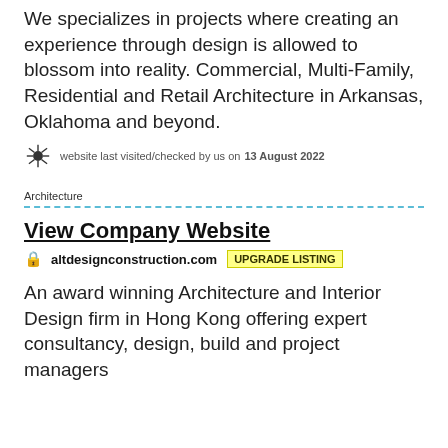We specializes in projects where creating an experience through design is allowed to blossom into reality. Commercial, Multi-Family, Residential and Retail Architecture in Arkansas, Oklahoma and beyond.
website last visited/checked by us on 13 August 2022
Architecture
View Company Website
altdesignconstruction.com UPGRADE LISTING
An award winning Architecture and Interior Design firm in Hong Kong offering expert consultancy, design, build and project managers